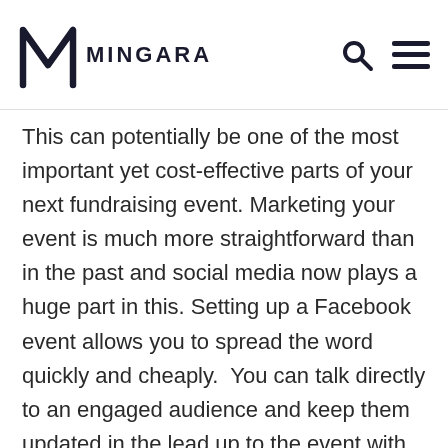MINGARA
This can potentially be one of the most important yet cost-effective parts of your next fundraising event. Marketing your event is much more straightforward than in the past and social media now plays a huge part in this. Setting up a Facebook event allows you to spread the word quickly and cheaply.  You can talk directly to an engaged audience and keep them updated in the lead up to the event with all sorts of information such as entertainment, auction items etc. Make sure that everyone in your organisation likes the Facebook event and clicks the "interested" box – more importantly